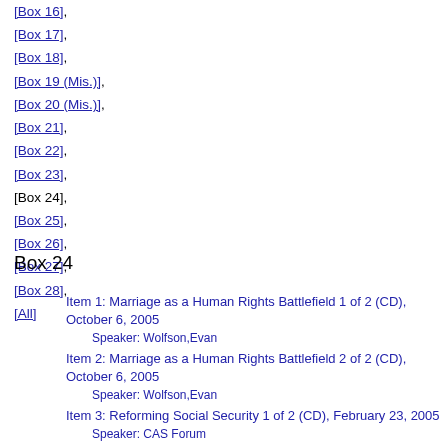[Box 16],
[Box 17],
[Box 18],
[Box 19 (Mis.)],
[Box 20 (Mis.)],
[Box 21],
[Box 22],
[Box 23],
[Box 24],
[Box 25],
[Box 26],
[Box 27],
[Box 28],
[All]
Box 24
Item 1: Marriage as a Human Rights Battlefield 1 of 2 (CD), October 6, 2005
Speaker: Wolfson,Evan
Item 2: Marriage as a Human Rights Battlefield 2 of 2 (CD), October 6, 2005
Speaker: Wolfson,Evan
Item 3: Reforming Social Security 1 of 2 (CD), February 23, 2005
Speaker: CAS Forum